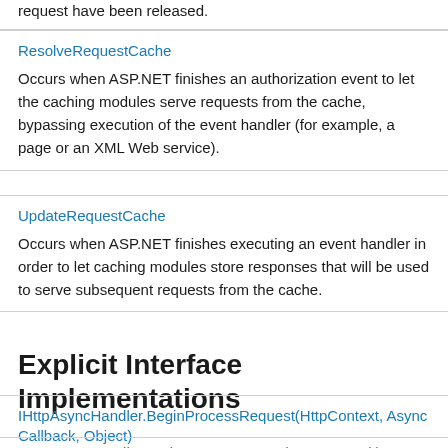request have been released.
| ResolveRequestCache | Occurs when ASP.NET finishes an authorization event to let the caching modules serve requests from the cache, bypassing execution of the event handler (for example, a page or an XML Web service). |
| UpdateRequestCache | Occurs when ASP.NET finishes executing an event handler in order to let caching modules store responses that will be used to serve subsequent requests from the cache. |
Explicit Interface Implementations
| IHttpAsyncHandler.BeginProcessRequest(HttpContext, AsyncCallback, Object) | Initiates an asynchronous call to the HTTP event handler. |
| IHttpAsyncHandler.EndProcessRequest(IAsyncResult) |  |